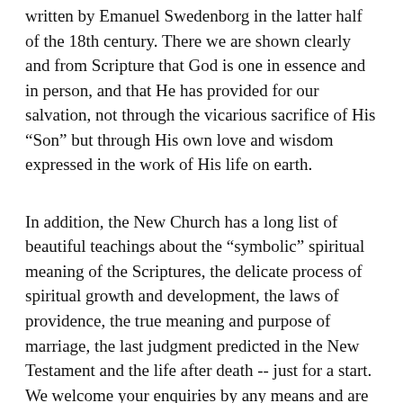written by Emanuel Swedenborg in the latter half of the 18th century. There we are shown clearly and from Scripture that God is one in essence and in person, and that He has provided for our salvation, not through the vicarious sacrifice of His "Son" but through His own love and wisdom expressed in the work of His life on earth.
In addition, the New Church has a long list of beautiful teachings about the "symbolic" spiritual meaning of the Scriptures, the delicate process of spiritual growth and development, the laws of providence, the true meaning and purpose of marriage, the last judgment predicted in the New Testament and the life after death -- just for a start. We welcome your enquiries by any means and are happy to provide literature, research materials, follow-up contacts or other information as needed, here in northeast BC or anywhere in the world.